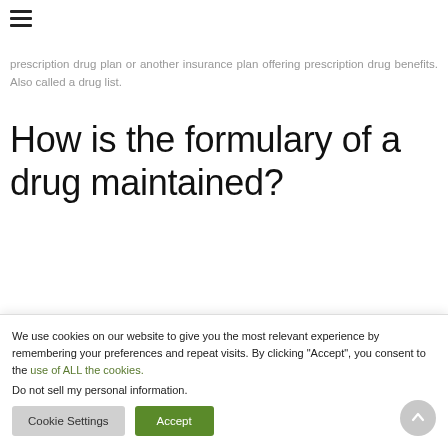☰
prescription drug plan or another insurance plan offering prescription drug benefits. Also called a drug list.
How is the formulary of a drug maintained?
The formulary is maintained by...
We use cookies on our website to give you the most relevant experience by remembering your preferences and repeat visits. By clicking "Accept", you consent to the use of ALL the cookies.
Do not sell my personal information.